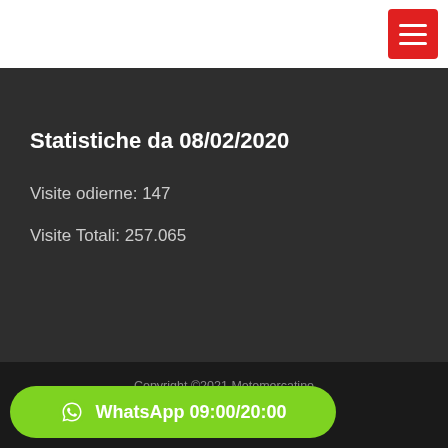Statistiche da 08/02/2020
Visite odierne: 147
Visite Totali: 257.065
Copyright ©2021 Motomercatino P. IVA 02836010832 ...naldi
WhatsApp 09:00/20:00